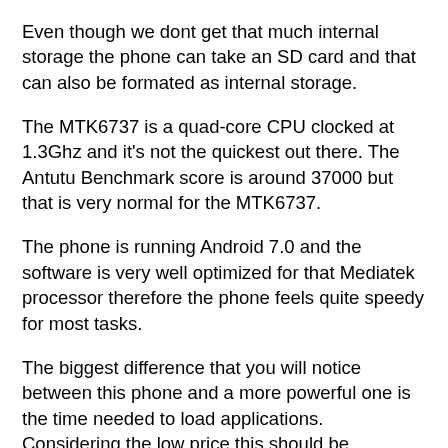Even though we dont get that much internal storage the phone can take an SD card and that can also be formated as internal storage.
The MTK6737 is a quad-core CPU clocked at 1.3Ghz and it's not the quickest out there. The Antutu Benchmark score is around 37000 but that is very normal for the MTK6737.
The phone is running Android 7.0 and the software is very well optimized for that Mediatek processor therefore the phone feels quite speedy for most tasks.
The biggest difference that you will notice between this phone and a more powerful one is the time needed to load applications. Considering the low price this should be expected.
Once the apps load they do work great and it should be more than sufficient for light users.
Gaming it's also possible and most games will do okayish but not great. Of course there are a lot of games available in the